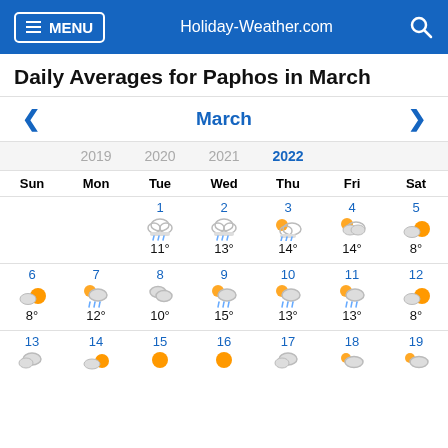MENU | Holiday-Weather.com | Search
Daily Averages for Paphos in March
< March >
| 2019 | 2020 | 2021 | 2022 |
| --- | --- | --- | --- |
| Sun | Mon | Tue | Wed | Thu | Fri | Sat |
|  |  | 1 rain 11° | 2 rain 13° | 3 rain 14° | 4 partly 14° | 5 sunny 8° |
| 6 partly 8° | 7 rain 12° | 8 cloudy 10° | 9 rain 15° | 10 rain 13° | 11 rain 13° | 12 partly 8° |
| 13 | 14 | 15 | 16 | 17 | 18 | 19 |